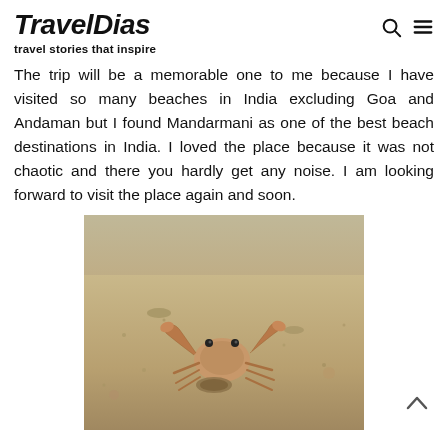TravelDias
travel stories that inspire
The trip will be a memorable one to me because I have visited so many beaches in India excluding Goa and Andaman but I found Mandarmani as one of the best beach destinations in India. I loved the place because it was not chaotic and there you hardly get any noise. I am looking forward to visit the place again and soon.
[Figure (photo): A crab on sandy beach at Mandarmani, India]